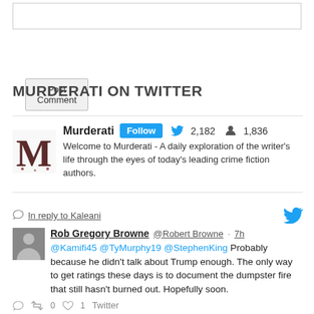[Figure (screenshot): Comment text input box (empty)]
Post Comment
MURDERATI ON TWITTER
[Figure (screenshot): Murderati Twitter widget with profile logo, Follow button, 2,182 tweets, 1,836 followers, and bio: Welcome to Murderati - A daily exploration of the writer's life through the eyes of today's leading crime fiction authors.]
[Figure (screenshot): Tweet: In reply to Kaleani. Rob Gregory Browne @Robert Browne · 7h. @Kamifi45 @TyMurphy19 @StephenKing Probably because he didn't talk about Trump enough. The only way to get ratings these days is to document the dumpster fire that still hasn't burned out. Hopefully soon.]